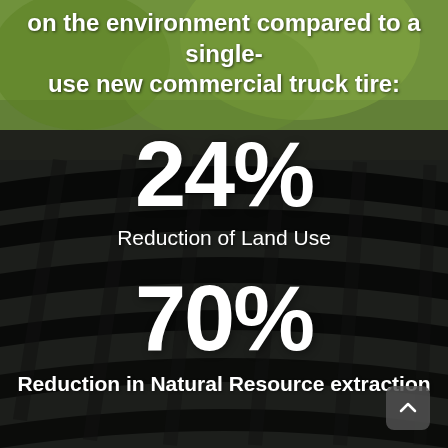[Figure (photo): Close-up photograph of a worn commercial truck tire tread, with blurred green foliage in the background upper portion]
on the environment compared to a single-use new commercial truck tire:
24%
Reduction of Land Use
70%
Reduction in Natural Resource extraction